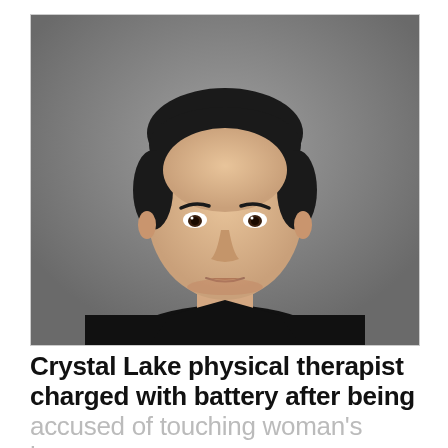[Figure (photo): Mugshot-style photograph of an Asian man with short dark hair, wearing a black shirt, against a gray background.]
Crystal Lake physical therapist charged with battery after being accused of touching woman's breasts